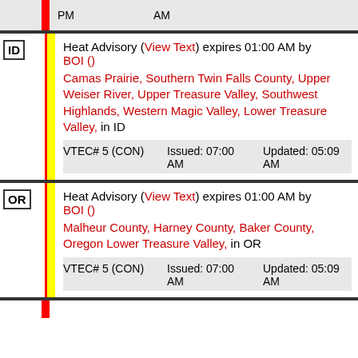| State | Alert | Issued | Updated |
| --- | --- | --- | --- |
| ID | Heat Advisory (View Text) expires 01:00 AM by BOI () Camas Prairie, Southern Twin Falls County, Upper Weiser River, Upper Treasure Valley, Southwest Highlands, Western Magic Valley, Lower Treasure Valley, in ID VTEC# 5 (CON) | Issued: 07:00 AM | Updated: 05:09 AM |
| OR | Heat Advisory (View Text) expires 01:00 AM by BOI () Malheur County, Harney County, Baker County, Oregon Lower Treasure Valley, in OR VTEC# 5 (CON) | Issued: 07:00 AM | Updated: 05:09 AM |